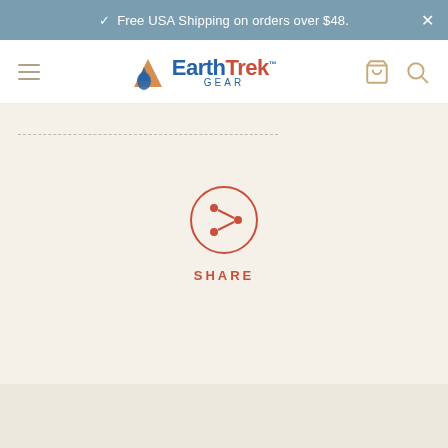✓ Free USA Shipping on orders over $48.
[Figure (logo): EarthTrek Gear logo with mountain/droplet icon and blue text]
[Figure (infographic): Red circular share button icon with share/network symbol, labeled SHARE below]